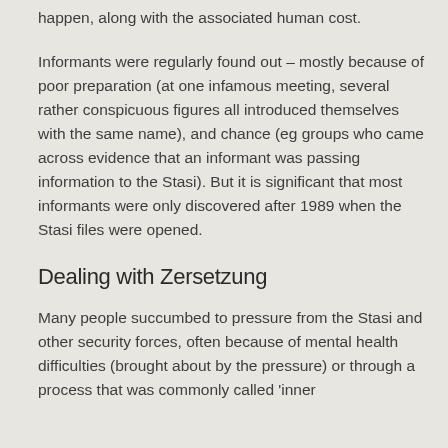happen, along with the associated human cost.
Informants were regularly found out – mostly because of poor preparation (at one infamous meeting, several rather conspicuous figures all introduced themselves with the same name), and chance (eg groups who came across evidence that an informant was passing information to the Stasi). But it is significant that most informants were only discovered after 1989 when the Stasi files were opened.
Dealing with Zersetzung
Many people succumbed to pressure from the Stasi and other security forces, often because of mental health difficulties (brought about by the pressure) or through a process that was commonly called 'inner